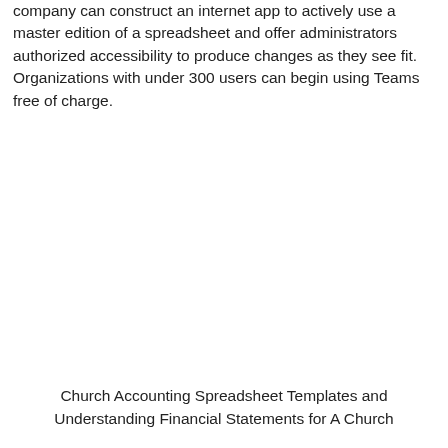company can construct an internet app to actively use a master edition of a spreadsheet and offer administrators authorized accessibility to produce changes as they see fit. Organizations with under 300 users can begin using Teams free of charge.
Church Accounting Spreadsheet Templates and Understanding Financial Statements for A Church